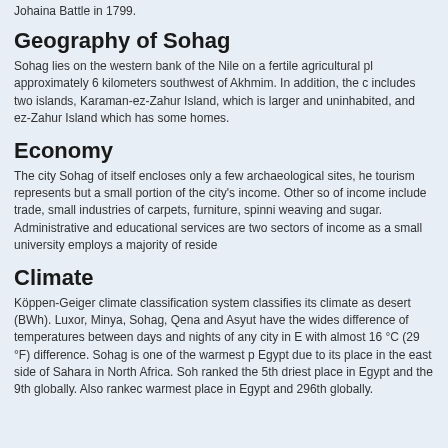Johaina Battle in 1799.
Geography of Sohag
Sohag lies on the western bank of the Nile on a fertile agricultural pl approximately 6 kilometers southwest of Akhmim. In addition, the c includes two islands, Karaman-ez-Zahur Island, which is larger and uninhabited, and ez-Zahur Island which has some homes.
Economy
The city Sohag of itself encloses only a few archaeological sites, he tourism represents but a small portion of the city's income. Other so of income include trade, small industries of carpets, furniture, spinni weaving and sugar. Administrative and educational services are two sectors of income as a small university employs a majority of reside
Climate
Köppen-Geiger climate classification system classifies its climate as desert (BWh). Luxor, Minya, Sohag, Qena and Asyut have the wides difference of temperatures between days and nights of any city in E with almost 16 °C (29 °F) difference. Sohag is one of the warmest p Egypt due to its place in the east side of Sahara in North Africa. Soh ranked the 5th driest place in Egypt and the 9th globally. Also rankec warmest place in Egypt and 296th globally.